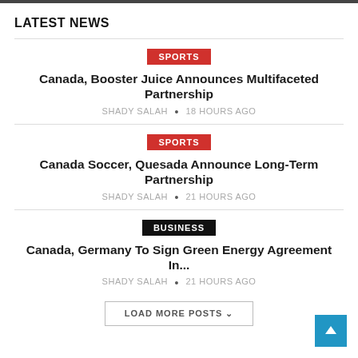LATEST NEWS
SPORTS
Canada, Booster Juice Announces Multifaceted Partnership
SHADY SALAH • 18 hours ago
SPORTS
Canada Soccer, Quesada Announce Long-Term Partnership
SHADY SALAH • 21 hours ago
BUSINESS
Canada, Germany To Sign Green Energy Agreement In...
SHADY SALAH • 21 hours ago
LOAD MORE POSTS ˅